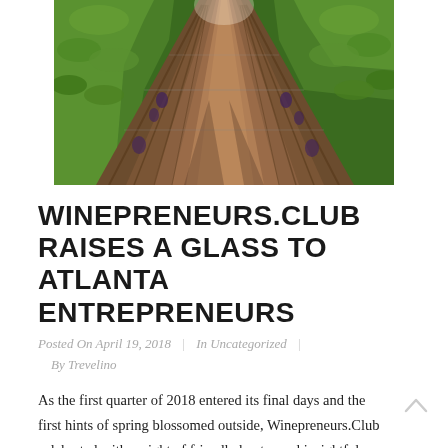[Figure (photo): Aerial perspective view of a vineyard with rows of grapevines stretching into the distance under bright daylight. Wooden posts and wire trellises visible along the vine rows.]
WINEPRENEURS.CLUB RAISES A GLASS TO ATLANTA ENTREPRENEURS
Posted On April 19, 2018 | In Uncategorized | By Trevelino
As the first quarter of 2018 entered its final days and the first hints of spring blossomed outside, Winepreneurs.Club celebrated with a night of friendly banter and insightful